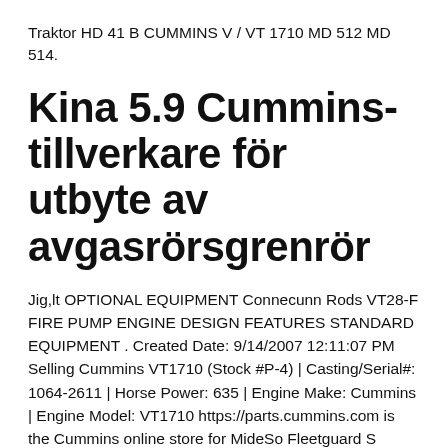Traktor HD 41 B CUMMINS V / VT 1710 MD 512 MD 514.
Kina 5.9 Cummins-tillverkare för utbyte av avgasrörsgrenrör
Jig,lt OPTIONAL EQUIPMENT Connecunn Rods VT28-F FIRE PUMP ENGINE DESIGN FEATURES STANDARD EQUIPMENT . Created Date: 9/14/2007 12:11:07 PM Selling Cummins VT1710 (Stock #P-4) | Casting/Serial#: 1064-2611 | Horse Power: 635 | Engine Make: Cummins | Engine Model: VT1710 https://parts.cummins.com is the Cummins online store for MideSo Fleetguard S...